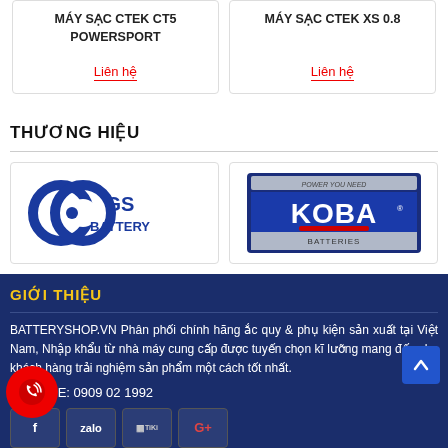MÁY SẠC CTEK CT5 POWERSPORT
Liên hệ
MÁY SẠC CTEK XS 0.8
Liên hệ
THƯƠNG HIỆU
[Figure (logo): GS Battery logo with blue circular icon and text GS BATTERY]
[Figure (logo): KOBA Batteries logo - blue rectangular badge with POWER YOU NEED text and KOBA BATTERIES in white]
GIỚI THIỆU
BATTERYSHOP.VN Phân phối chính hãng ắc quy & phụ kiện sản xuất tại Việt Nam, Nhập khẩu từ nhà máy cung cấp được tuyến chọn kĩ lưỡng mang đến cho khách hàng trải nghiệm sản phẩm một cách tốt nhất.
HOTLINE: 0909 02 1992